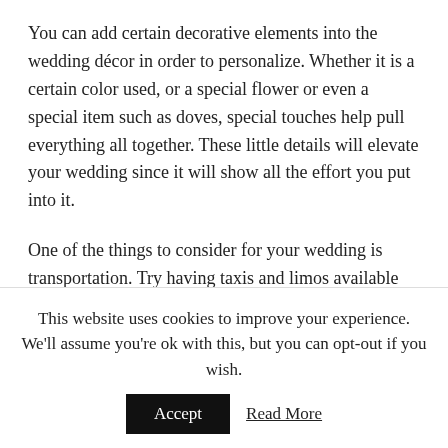You can add certain decorative elements into the wedding décor in order to personalize. Whether it is a certain color used, or a special flower or even a special item such as doves, special touches help pull everything all together. These little details will elevate your wedding since it will show all the effort you put into it.
One of the things to consider for your wedding is transportation. Try having taxis and limos available for people who don't have transportation after the wedding. This is also a good idea for guests who have had too much to drink at the wedding.
Put some time and efforts into your vows to make sure your wife or husband will remember this day. Realize that
This website uses cookies to improve your experience. We'll assume you're ok with this, but you can opt-out if you wish.